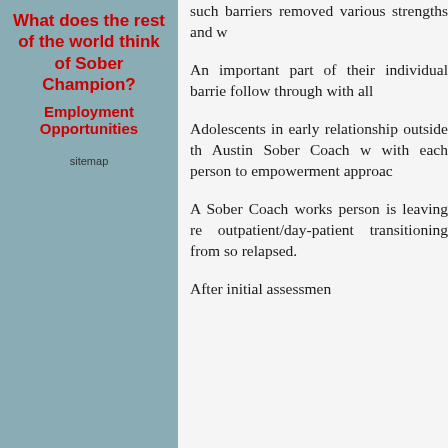What does the rest of the world think of Sober Champion?
Employment Opportunities
sitemap
such barriers removed various strengths and w
An important part of their individual barrier follow through with all
Adolescents in early relationship outside th Austin Sober Coach w with each person to empowerment approac
A Sober Coach works person is leaving re outpatient/day-patient transitioning from so relapsed.
After initial assessmen